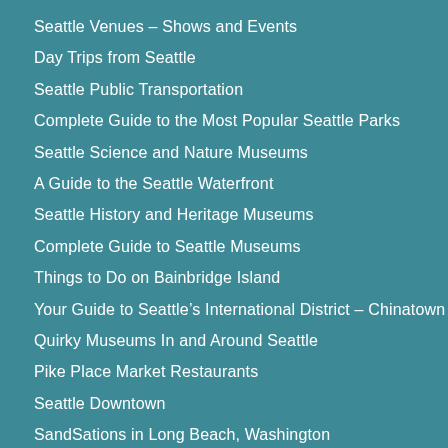Seattle Venues – Shows and Events
Day Trips from Seattle
Seattle Public Transportation
Complete Guide to the Most Popular Seattle Parks
Seattle Science and Nature Museums
A Guide to the Seattle Waterfront
Seattle History and Heritage Museums
Complete Guide to Seattle Museums
Things to Do on Bainbridge Island
Your Guide to Seattle's International District – Chinatown
Quirky Museums In and Around Seattle
Pike Place Market Restaurants
Seattle Downtown
SandSations in Long Beach, Washington